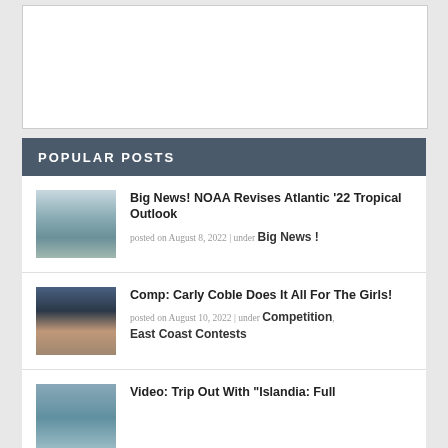[Figure (other): White advertisement placeholder box]
POPULAR POSTS
[Figure (photo): Ocean wave close-up photo thumbnail]
Big News! NOAA Revises Atlantic '22 Tropical Outlook
posted on August 8, 2022 | under Big News !
[Figure (photo): Crowd at surfing competition with Otis tent thumbnail]
Comp: Carly Coble Does It All For The Girls!
posted on August 10, 2022 | under Competition, East Coast Contests
[Figure (photo): Beach/wave photo thumbnail]
Video: Trip Out With “Islandia: Full